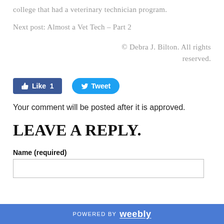college that had a veterinary technician program.
Next post: Almost a Vet Tech – Part 2
© Debra J. Bilton. All rights reserved.
[Figure (other): Facebook Like button showing count of 1, and Twitter Tweet button]
Your comment will be posted after it is approved.
LEAVE A REPLY.
Name (required)
POWERED BY weebly